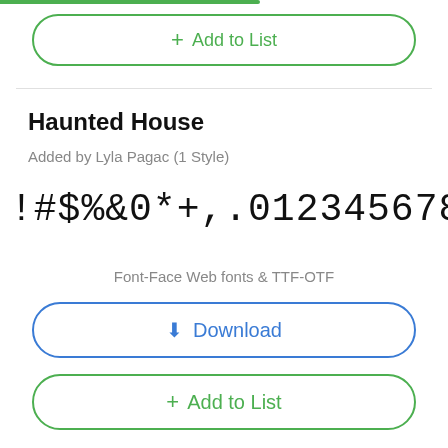[Figure (screenshot): Green progress bar at top of page]
+ Add to List
Haunted House
Added by Lyla Pagac (1 Style)
!#$%&0*+,.0123456789:;<>?@ABCDEFGHIJKLMNOPQRSTUV
Font-Face Web fonts & TTF-OTF
↓  Download
+ Add to List